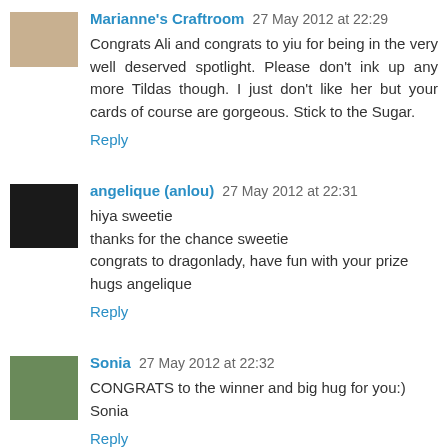Marianne's Craftroom 27 May 2012 at 22:29
Congrats Ali and congrats to yiu for being in the very well deserved spotlight. Please don't ink up any more Tildas though. I just don't like her but your cards of course are gorgeous. Stick to the Sugar.
Reply
angelique (anlou) 27 May 2012 at 22:31
hiya sweetie
thanks for the chance sweetie
congrats to dragonlady, have fun with your prize
hugs angelique
Reply
Sonia 27 May 2012 at 22:32
CONGRATS to the winner and big hug for you:)
Sonia
Reply